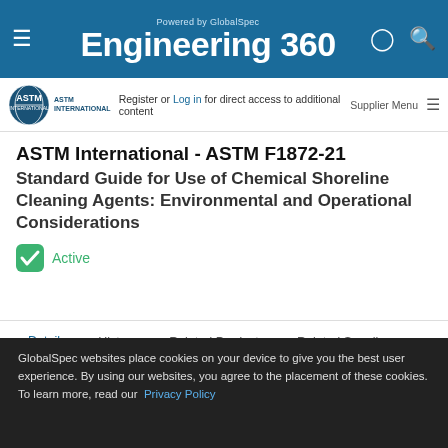Powered by GlobalSpec Engineering 360
Register or Log in for direct access to additional content  Supplier Menu
ASTM International - ASTM F1872-21
Standard Guide for Use of Chemical Shoreline Cleaning Agents: Environmental and Operational Considerations
Active
BUY NOW
Details  History  Related Products  Related Suppliers
GlobalSpec websites place cookies on your device to give you the best user experience. By using our websites, you agree to the placement of these cookies. To learn more, read our Privacy Policy